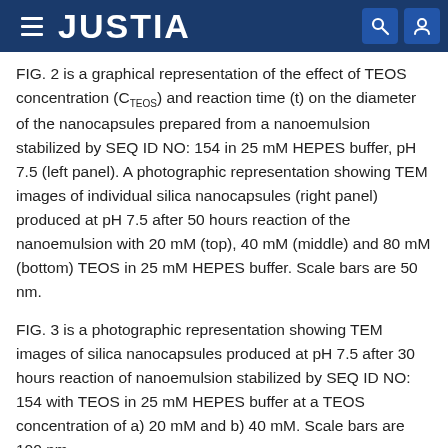JUSTIA
FIG. 2 is a graphical representation of the effect of TEOS concentration (CTEOS) and reaction time (t) on the diameter of the nanocapsules prepared from a nanoemulsion stabilized by SEQ ID NO: 154 in 25 mM HEPES buffer, pH 7.5 (left panel). A photographic representation showing TEM images of individual silica nanocapsules (right panel) produced at pH 7.5 after 50 hours reaction of the nanoemulsion with 20 mM (top), 40 mM (middle) and 80 mM (bottom) TEOS in 25 mM HEPES buffer. Scale bars are 50 nm.
FIG. 3 is a photographic representation showing TEM images of silica nanocapsules produced at pH 7.5 after 30 hours reaction of nanoemulsion stabilized by SEQ ID NO: 154 with TEOS in 25 mM HEPES buffer at a TEOS concentration of a) 20 mM and b) 40 mM. Scale bars are 100 nm.